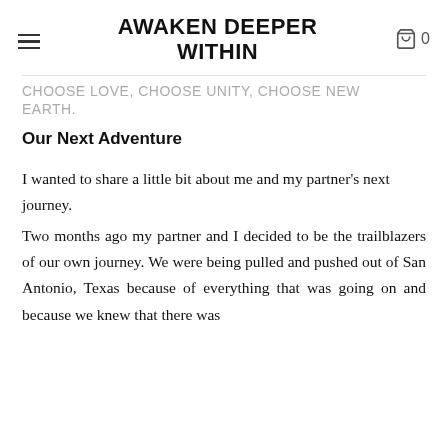AWAKEN DEEPER WITHIN
CHOOSE LOVE, CHOOSE UNITY, CHOOSE NEW EARTH.
Our Next Adventure
I wanted to share a little bit about me and my partner's next journey.
Two months ago my partner and I decided to be the trailblazers of our own journey. We were being pulled and pushed out of San Antonio, Texas because of everything that was going on and because we knew that there was something better out there.